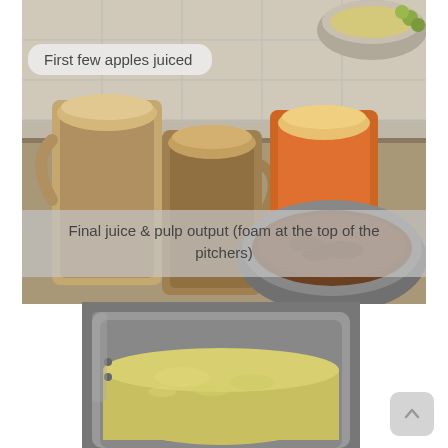[Figure (photo): Three plastic pitchers filled with freshly juiced liquid and foam on top, a metal bowl with pulp, and a metal bowl with food in the background on a tiled counter.]
First few apples juiced
Final juice & pulp output (foam at the top of the pitchers)
[Figure (photo): A large stainless steel pot containing yellow-green juice or liquid, viewed from above.]